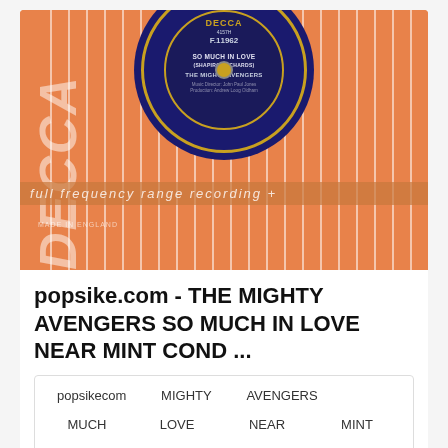[Figure (photo): Photograph of a Decca vinyl record (The Mighty Avengers - So Much In Love, F.11962) on an orange and white striped Decca record sleeve]
popsike.com - THE MIGHTY AVENGERS SO MUCH IN LOVE NEAR MINT COND ...
popsikecom
MIGHTY
AVENGERS
MUCH
LOVE
NEAR
MINT
COND